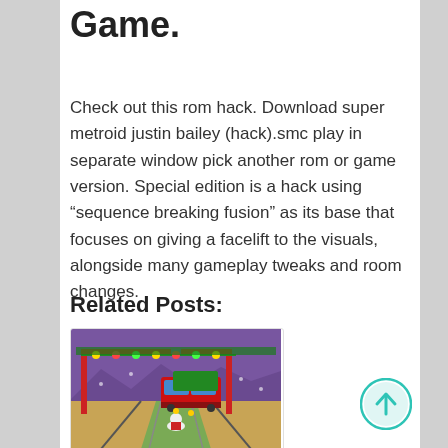Game.
Check out this rom hack. Download super metroid justin bailey (hack).smc play in separate window pick another rom or game version. Special edition is a hack using “sequence breaking fusion” as its base that focuses on giving a facelift to the visuals, alongside many gameplay tweaks and room changes.
Related Posts:
[Figure (screenshot): Subway Surfers game screenshot showing a character running on subway tracks with a holiday/Christmas theme, trains in background]
Subway Surfers Hack Version 2 11 0